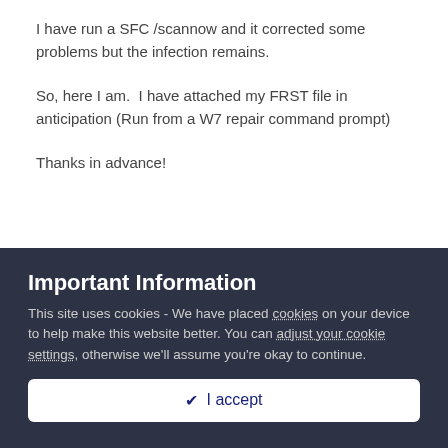I have run a SFC /scannow and it corrected some problems but the infection remains.
So, here I am.  I have attached my FRST file in anticipation (Run from a W7 repair command prompt)
Thanks in advance!
Important Information
This site uses cookies - We have placed cookies on your device to help make this website better. You can adjust your cookie settings, otherwise we'll assume you're okay to continue.
✔ I accept